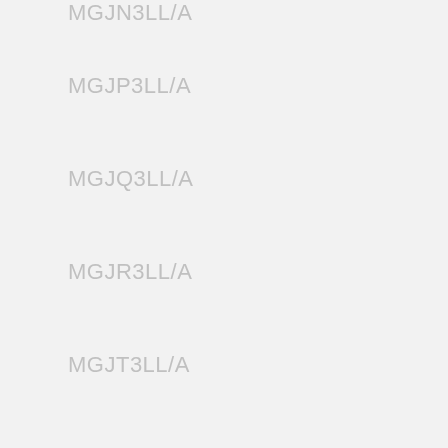MGJN3LL/A
MGJP3LL/A
MGJQ3LL/A
MGJR3LL/A
MGJT3LL/A
MGJU3LL/A
MGJV3LL/A
MGJW3LL/A
MGJX3LL/A
MGJY3LL/A
MGK03LL/A
MGK13LL/A